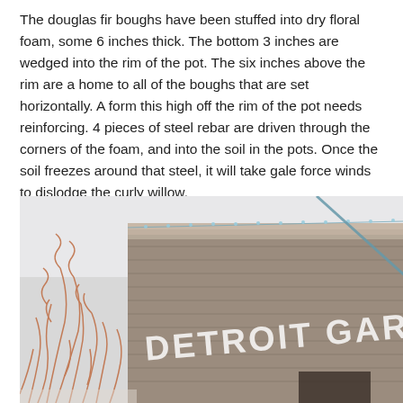The douglas fir boughs have been stuffed into dry floral foam, some 6 inches thick.  The bottom 3 inches are wedged into the rim of the pot.  The six inches above the rim are a home to all of the boughs that are set horizontally.  A form this high off the rim of the pot needs reinforcing.  4 pieces of steel rebar are driven through the corners of the foam, and into the soil in the pots.  Once the soil freezes around that steel, it will take gale force winds to dislodge the curly willow.
[Figure (photo): Exterior photo of a brick building with 'DETROIT GARD[ENS]' sign, decorated with string lights along the roofline, and bare reddish curly willow branches in the foreground. A diagonal metal rod or stake is visible against the building.]